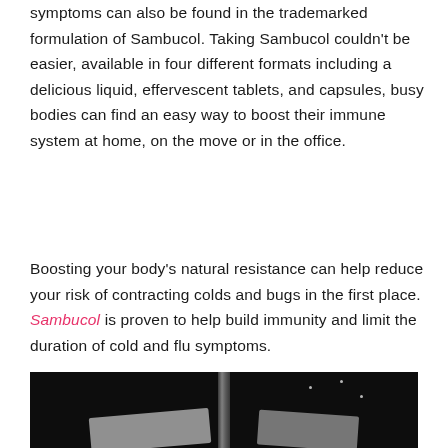symptoms can also be found in the trademarked formulation of Sambucol. Taking Sambucol couldn't be easier, available in four different formats including a delicious liquid, effervescent tablets, and capsules, busy bodies can find an easy way to boost their immune system at home, on the move or in the office.
Boosting your body's natural resistance can help reduce your risk of contracting colds and bugs in the first place. Sambucol is proven to help build immunity and limit the duration of cold and flu symptoms.
[Figure (photo): Dark background photograph showing Sambucol product packaging or tube with papers visible at bottom left and right]